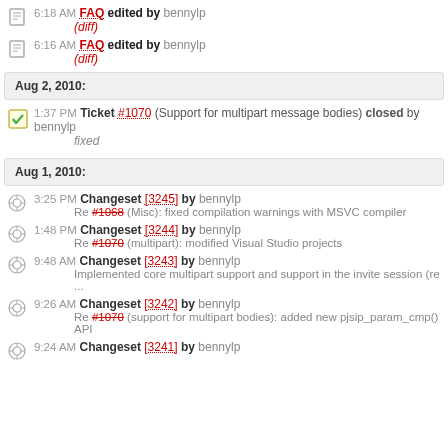6:18 AM FAQ edited by bennylp (diff)
6:16 AM FAQ edited by bennylp (diff)
Aug 2, 2010:
1:37 PM Ticket #1070 (Support for multipart message bodies) closed by bennylp fixed
Aug 1, 2010:
3:25 PM Changeset [3245] by bennylp Re #1068 (Misc): fixed compilation warnings with MSVC compiler
1:48 PM Changeset [3244] by bennylp Re #1070 (multipart): modified Visual Studio projects
9:48 AM Changeset [3243] by bennylp Implemented core multipart support and support in the invite session (re ...
9:26 AM Changeset [3242] by bennylp Re #1070 (support for multipart bodies): added new pjsip_param_cmp() API
9:24 AM Changeset [3241] by bennylp